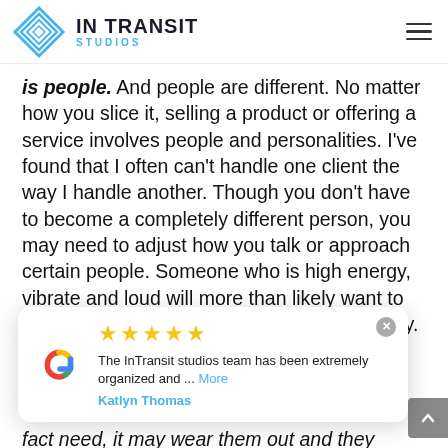IN TRANSIT STUDIOS
is people. And people are different. No matter how you slice it, selling a product or offering a service involves people and personalities. I've found that I often can't handle one client the way I handle another. Though you don't have to become a completely different person, you may need to adjust how you talk or approach certain people. Someone who is high energy, vibrate and loud will more than likely want to work with someone who is of a similar energy. So you may just try and match some of their
[Figure (infographic): Google review card with 5 stars. Review text: 'The InTransit studios team has been extremely organized and ... More'. Reviewer: Katlyn Thomas.]
fact need, it may wear them out and they